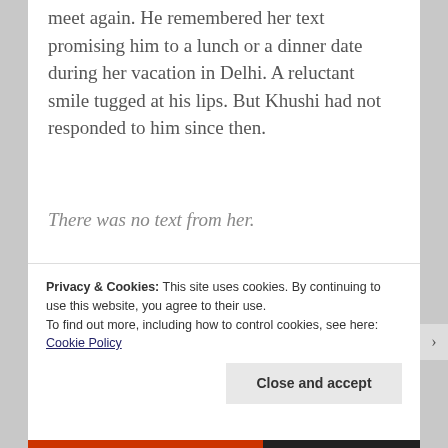meet again. He remembered her text promising him to a lunch or a dinner date during her vacation in Delhi. A reluctant smile tugged at his lips. But Khushi had not responded to him since then.
There was no text from her.
Privacy & Cookies: This site uses cookies. By continuing to use this website, you agree to their use.
To find out more, including how to control cookies, see here: Cookie Policy
Close and accept